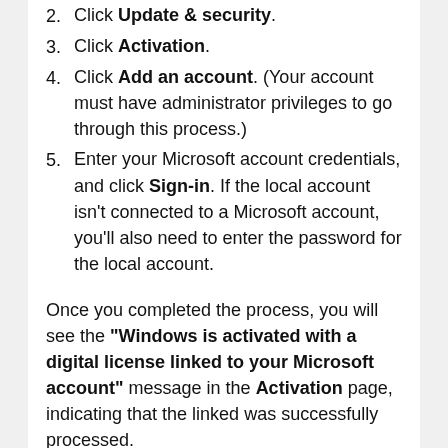Click Update & security.
Click Activation.
Click Add an account. (Your account must have administrator privileges to go through this process.)
Enter your Microsoft account credentials, and click Sign-in. If the local account isn't connected to a Microsoft account, you'll also need to enter the password for the local account.
Once you completed the process, you will see the “Windows is activated with a digital license linked to your Microsoft account” message in the Activation page, indicating that the linked was successfully processed.